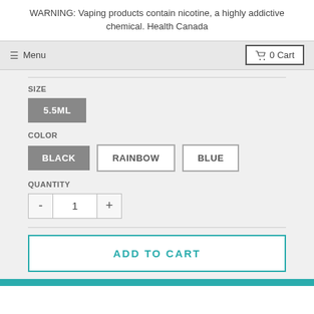WARNING: Vaping products contain nicotine, a highly addictive chemical. Health Canada
Menu   0 Cart
SIZE
5.5ML
COLOR
BLACK  RAINBOW  BLUE
QUANTITY
- 1 +
ADD TO CART